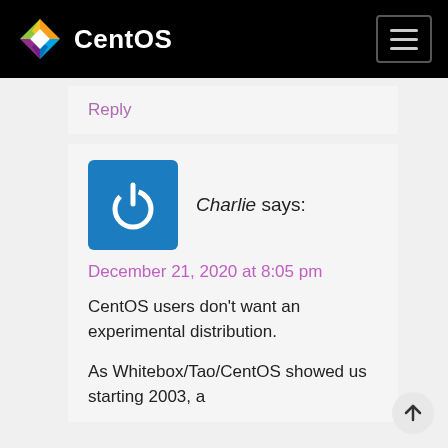CentOS
Reply
Charlie says:
December 21, 2020 at 8:05 pm
CentOS users don't want an experimental distribution.
As Whitebox/Tao/CentOS showed us starting 2003, a